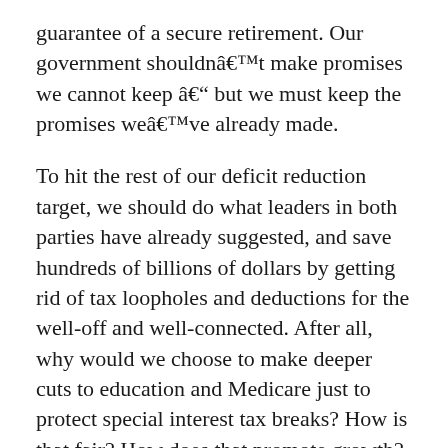guarantee of a secure retirement. Our government shouldnâ€™t make promises we cannot keep â€“ but we must keep the promises weâ€™ve already made.
To hit the rest of our deficit reduction target, we should do what leaders in both parties have already suggested, and save hundreds of billions of dollars by getting rid of tax loopholes and deductions for the well-off and well-connected. After all, why would we choose to make deeper cuts to education and Medicare just to protect special interest tax breaks? How is that fair? How does that promote growth?
Now is our best chance for bipartisan, comprehensive tax reform that encourages job creation and helps bring down the deficit. The American people deserve